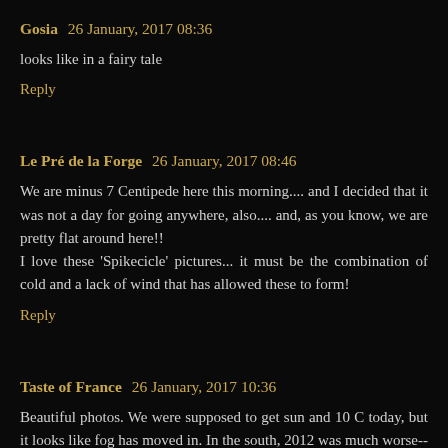Gosia 26 January, 2017 08:36
looks like in a fairy tale
Reply
Le Pré de la Forge 26 January, 2017 08:46
We are minus 7 Centipede here this morning.... and I decided that it was not a day for going anywhere, also.... and, as you know, we are pretty flat around here!! I love these 'Spikecicle' pictures... it must be the combination of cold and a lack of wind that has allowed these to form!
Reply
Taste of France 26 January, 2017 10:36
Beautiful photos. We were supposed to get sun and 10 C today, but it looks like fog has moved in. In the south, 2012 was much worse--it's rare here for temps to stay below